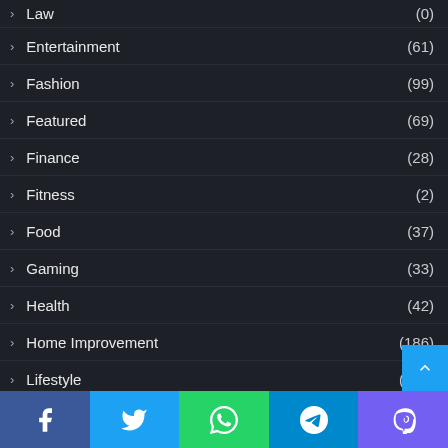Law (0)
Entertainment (61)
Fashion (99)
Featured (69)
Finance (28)
Fitness (2)
Food (37)
Gaming (33)
Health (42)
Home Improvement (186)
Lifestyle (150)
Pets (20)
Real Estate
Software (25)